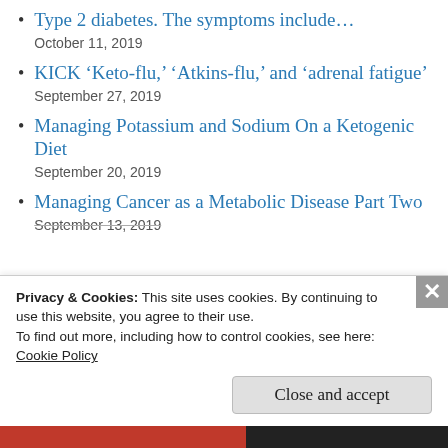Type 2 diabetes. The symptoms include…
October 11, 2019
KICK ‘Keto-flu,’ ‘Atkins-flu,’ and ‘adrenal fatigue’
September 27, 2019
Managing Potassium and Sodium On a Ketogenic Diet
September 20, 2019
Managing Cancer as a Metabolic Disease Part Two
September 13, 2019
Privacy & Cookies: This site uses cookies. By continuing to use this website, you agree to their use.
To find out more, including how to control cookies, see here:
Cookie Policy
Close and accept